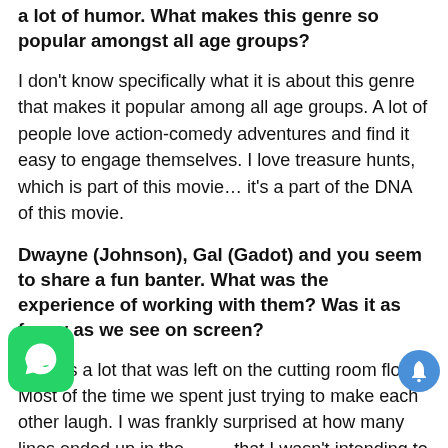a lot of humor. What makes this genre so popular amongst all age groups?
I don't know specifically what it is about this genre that makes it popular among all age groups. A lot of people love action-comedy adventures and find it easy to engage themselves. I love treasure hunts, which is part of this movie… it's a part of the DNA of this movie.
Dwayne (Johnson), Gal (Gadot) and you seem to share a fun banter. What was the experience of working with them? Was it as funny as we see on screen?
There's a lot that was left on the cutting room floor. Most of the time we spent just trying to make each other laugh. I was frankly surprised at how many lines ended up in the that I wasn't intending to use in the movie. I was just o make Dwayne laugh, and make him ruin a take and, delay us (laughs). But yeah, it was an exceptional